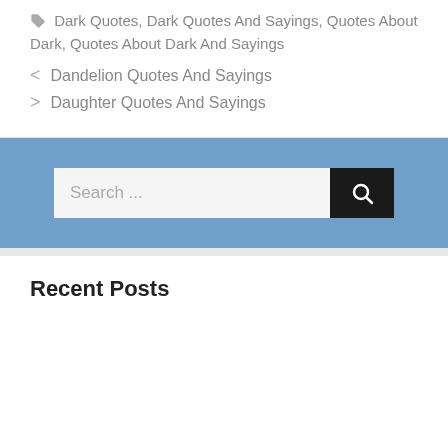Dark Quotes, Dark Quotes And Sayings, Quotes About Dark, Quotes About Dark And Sayings
< Dandelion Quotes And Sayings
> Daughter Quotes And Sayings
[Figure (screenshot): Search bar with text input field showing 'Search ...' placeholder and a dark search button with magnifying glass icon, on a blue background]
Recent Posts